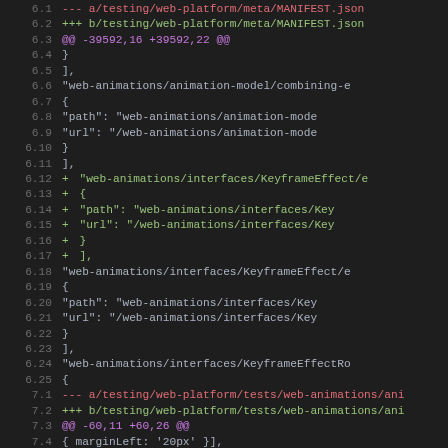[Figure (screenshot): Code diff view showing changes to MANIFEST.json and web-animations test files in a dark-themed code editor. Line numbers on left, colored diff markers (red for removed, green for added, purple for diff headers).]